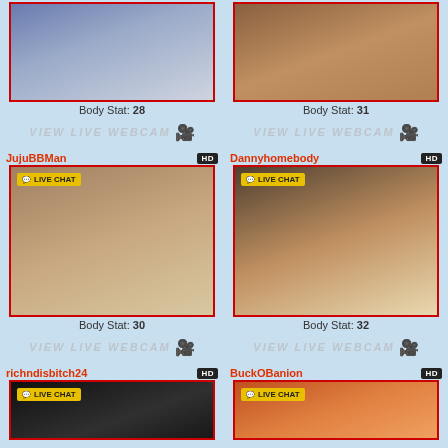[Figure (photo): Top-left profile photo of a smiling man in a suit, blue/purple tinted background]
Body Stat: 28
VIEW LIVE WEBCAM
[Figure (photo): Top-right photo of a shirtless muscular man]
Body Stat: 31
VIEW LIVE WEBCAM
JujuBBMan
[Figure (photo): Mid-left photo of a bald Black man with beard, LIVE CHAT badge]
Body Stat: 30
VIEW LIVE WEBCAM
Dannyhomebody
[Figure (photo): Mid-right photo of a young man lying on a bed, LIVE CHAT badge]
Body Stat: 32
VIEW LIVE WEBCAM
richndisbitch24
[Figure (photo): Bottom-left thumbnail with LIVE CHAT badge, dark background]
BuckOBanion
[Figure (photo): Bottom-right thumbnail with LIVE CHAT badge, orange toned]